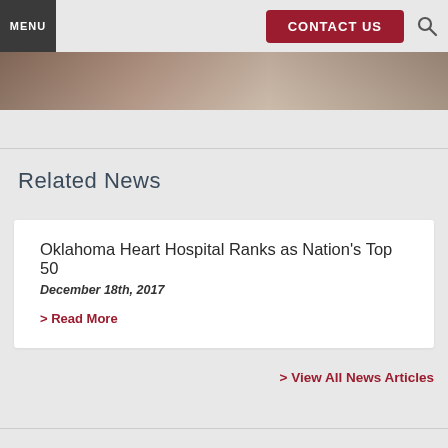MENU | CONTACT US
[Figure (photo): Partial photo strip visible at top of page]
Related News
Oklahoma Heart Hospital Ranks as Nation's Top 50
December 18th, 2017
> Read More
> View All News Articles